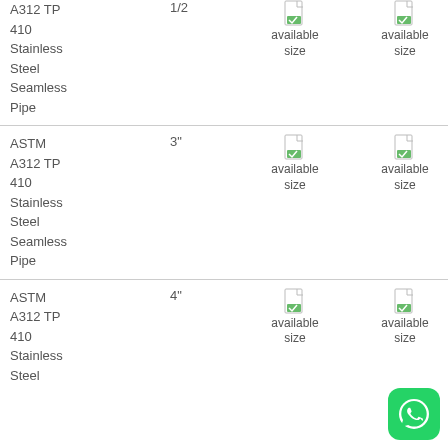| Product | Size | Col3 | Col4 | Col5 |
| --- | --- | --- | --- | --- |
| ASTM A312 TP 410 Stainless Steel Seamless Pipe | 1/2 | available size | available size | size |
| ASTM A312 TP 410 Stainless Steel Seamless Pipe | 3" | available size | available size | avail size |
| ASTM A312 TP 410 Stainless Steel Seamless Pipe | 4" | available size | available size | size |